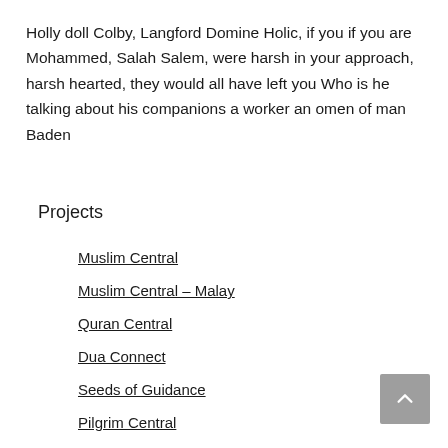Holly doll Colby, Langford Domine Holic, if you if you are Mohammed, Salah Salem, were harsh in your approach, harsh hearted, they would all have left you Who is he talking about his companions a worker an omen of man Baden
Projects
Muslim Central
Muslim Central – Malay
Quran Central
Dua Connect
Seeds of Guidance
Pilgrim Central